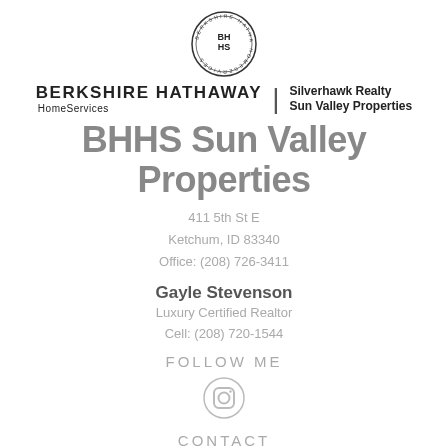[Figure (logo): Berkshire Hathaway HomeServices circular logo with BH HS initials and text around the border]
BERKSHIRE HATHAWAY HomeServices | Silverhawk Realty Sun Valley Properties
BHHS Sun Valley Properties
411 5th St E
Ketchum, ID 83340
Office: (208) 726-3411
Gayle Stevenson
Luxury Certified Realtor
Cell: (208) 720-1544
FOLLOW ME
[Figure (logo): Instagram icon - circle with rounded square camera outline]
CONTACT